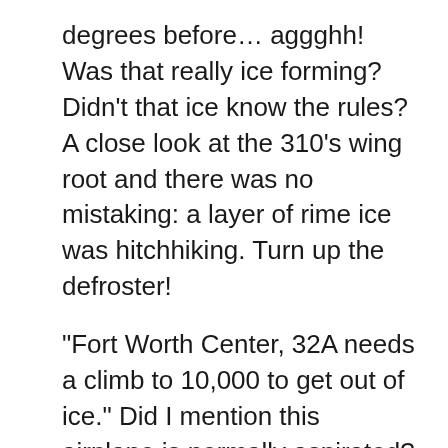degrees before… aggghh! Was that really ice forming? Didn't that ice know the rules? A close look at the 310's wing root and there was no mistaking: a layer of rime ice was hitchhiking. Turn up the defroster!
“Fort Worth Center, 32A needs a climb to 10,000 to get out of ice.” Did I mention this airplane is normally aspirated? The leisurely climb to 9,800 did nothing to get on top or get out of the ice. Time for a different plan.
“Fort Worth Center, this isn’t working, I need 7,000 to try to get out of the ice.” Throttle back, heading down, sort of. Did I mention